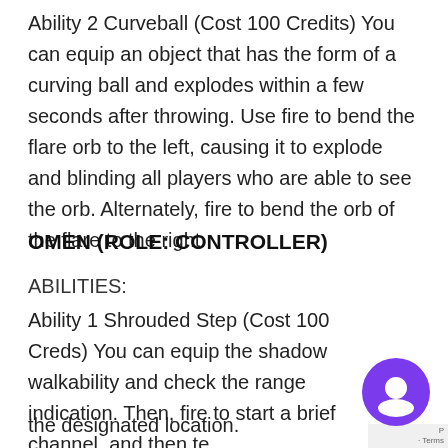Ability 2 Curveball (Cost 100 Credits) You can equip an object that has the form of a curving ball and explodes within a few seconds after throwing. Use fire to bend the flare orb to the left, causing it to explode and blinding all players who are able to see the orb. Alternately, fire to bend the orb of the flare to the right.
OMEN (ROLE: CONTROLLER)
ABILITIES:
Ability 1 Shrouded Step (Cost 100 Creds) You can equip the shadow walkability and check the range indication. Then, fire to start a brief channel, and then teleport to the designated location.